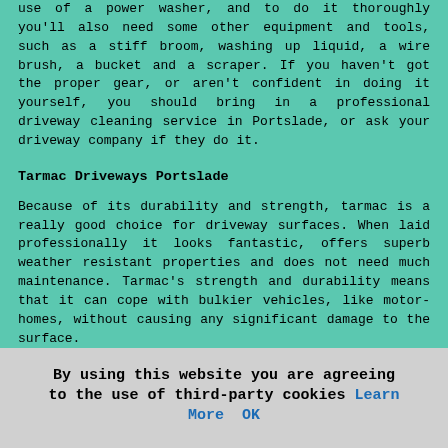use of a power washer, and to do it thoroughly you'll also need some other equipment and tools, such as a stiff broom, washing up liquid, a wire brush, a bucket and a scraper. If you haven't got the proper gear, or aren't confident in doing it yourself, you should bring in a professional driveway cleaning service in Portslade, or ask your driveway company if they do it.
Tarmac Driveways Portslade
Because of its durability and strength, tarmac is a really good choice for driveway surfaces. When laid professionally it looks fantastic, offers superb weather resistant properties and does not need much maintenance. Tarmac's strength and durability means that it can cope with bulkier vehicles, like motor-homes, without causing any significant damage to the surface.
Tarmac is also great value for money and is available in a variety of colours to match your property and the surrounding areas. You don't have to have a dull, traditional looking driveway; you are able to customise your drive to a colour of your choosing. The installation of a tarmac driveway is reasonably straightforward and can
By using this website you are agreeing to the use of third-party cookies Learn More  OK